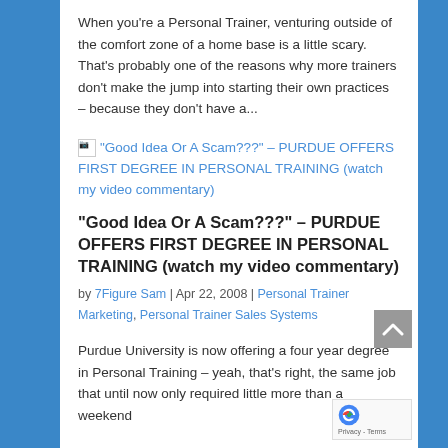When you're a Personal Trainer, venturing outside of the comfort zone of a home base is a little scary. That's probably one of the reasons why more trainers don't make the jump into starting their own practices – because they don't have a...
[Figure (illustration): Broken image icon followed by a hyperlink: "Good Idea Or A Scam???" – PURDUE OFFERS FIRST DEGREE IN PERSONAL TRAINING (watch my video commentary)]
"Good Idea Or A Scam???" – PURDUE OFFERS FIRST DEGREE IN PERSONAL TRAINING (watch my video commentary)
by 7Figure Sam | Apr 22, 2008 | Personal Trainer Marketing, Personal Trainer Sales Systems
Purdue University is now offering a four year degree in Personal Training – yeah, that's right, the same job that until now only required little more than a weekend